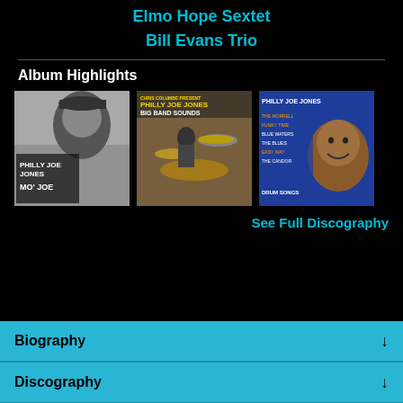Elmo Hope Sextet
Bill Evans Trio
Album Highlights
[Figure (photo): Album cover: Philly Joe Jones - Mo' Joe (black and white photo of a man)]
[Figure (photo): Album cover: Philly Joe Jones Big Band Sounds (drummer at kit)]
[Figure (photo): Album cover: Philly Joe Jones - Drum Songs (smiling man on blue background)]
See Full Discography
Biography
Discography